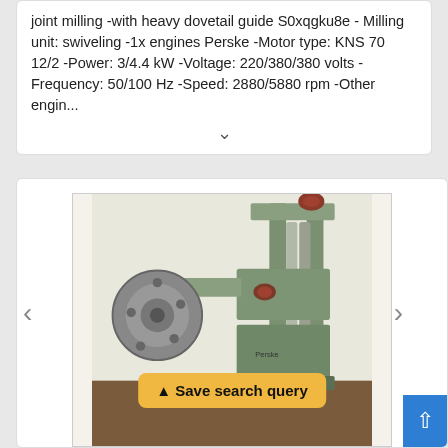joint milling -with heavy dovetail guide S0xqgku8e - Milling unit: swiveling -1x engines Perske -Motor type: KNS 70 12/2 -Power: 3/4.4 kW -Voltage: 220/380/380 volts -Frequency: 50/100 Hz -Speed: 2880/5880 rpm -Other engin...
[Figure (photo): Photo of a green industrial milling machine with a circular grinding disc on the left side, vertical guide rails, hydraulic cylinders, and brown/red handle knobs. The machine is photographed against a light background on a brown surface.]
Save search query